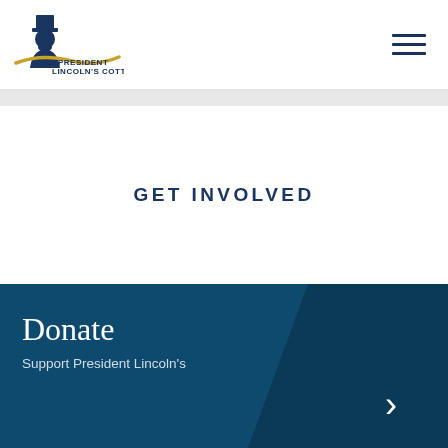[Figure (logo): President Lincoln's Cottage logo: blue silhouette of Lincoln in top hat with gold wave underneath, text 'PRESIDENT LINCOLN'S COTTAGE' in dark blue]
GET INVOLVED
Donate
Support President Lincoln's